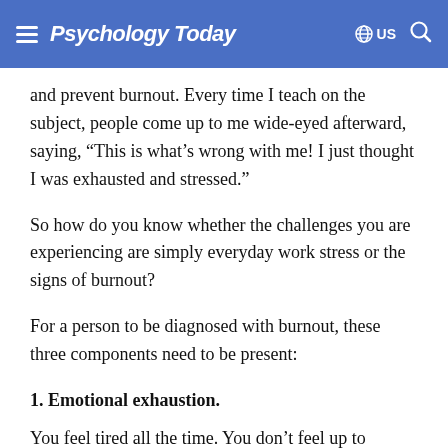Psychology Today
and prevent burnout. Every time I teach on the subject, people come up to me wide-eyed afterward, saying, “This is what’s wrong with me! I just thought I was exhausted and stressed.”
So how do you know whether the challenges you are experiencing are simply everyday work stress or the signs of burnout?
For a person to be diagnosed with burnout, these three components need to be present:
1. Emotional exhaustion.
You feel tired all the time. You don’t feel up to